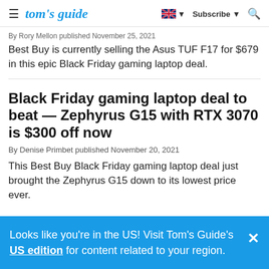tom's guide — Subscribe
By Rory Mellon published November 25, 2021
Best Buy is currently selling the Asus TUF F17 for $679 in this epic Black Friday gaming laptop deal.
Black Friday gaming laptop deal to beat — Zephyrus G15 with RTX 3070 is $300 off now
By Denise Primbet published November 20, 2021
This Best Buy Black Friday gaming laptop deal just brought the Zephyrus G15 down to its lowest price ever.
Looks like you're in the US! Visit Tom's Guide's US edition for content related to your region.